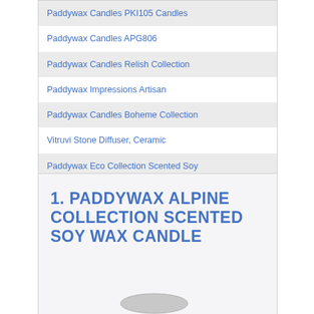Paddywax Candles PKI105 Candles
Paddywax Candles APG806
Paddywax Candles Relish Collection
Paddywax Impressions Artisan
Paddywax Candles Boheme Collection
Vitruvi Stone Diffuser, Ceramic
Paddywax Eco Collection Scented Soy
1. PADDYWAX ALPINE COLLECTION SCENTED SOY WAX CANDLE
[Figure (photo): Partial view of a candle product at the bottom of the page, showing the top oval/lid of a candle jar]